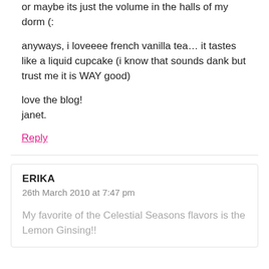or maybe its just the volume in the halls of my dorm (:
anyways, i loveeee french vanilla tea… it tastes like a liquid cupcake (i know that sounds dank but trust me it is WAY good)
love the blog!
janet.
Reply
ERIKA
26th March 2010 at 7:47 pm
My favorite of the Celestial Seasons flavors is the Lemon Ginsing!!